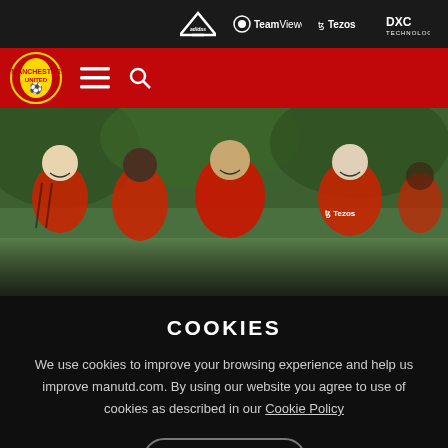adidas | TeamViewer | Tezos | DXC Technology
[Figure (logo): Manchester United navigation bar with red background, MU crest logo, hamburger menu icon, and search icon]
[Figure (photo): Manchester United players in red training kit smiling during a training session on a green pitch, including Harry Maguire in center wearing Tezos-branded jacket]
COOKIES
We use cookies to improve your browsing experience and help us improve manutd.com. By using our website you agree to use of cookies as described in our Cookie Policy
OK